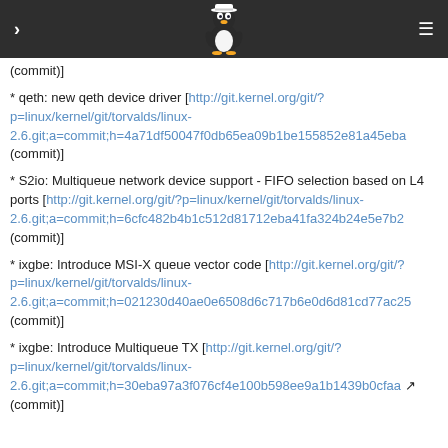Linux kernel changelog navigation header
(commit)]
* qeth: new qeth device driver [http://git.kernel.org/git/?p=linux/kernel/git/torvalds/linux-2.6.git;a=commit;h=4a71df50047f0db65ea09b1be155852e81a45eba (commit)]
* S2io: Multiqueue network device support - FIFO selection based on L4 ports [http://git.kernel.org/git/?p=linux/kernel/git/torvalds/linux-2.6.git;a=commit;h=6cfc482b4b1c512d81712eba41fa324b24e5e7b2 (commit)]
* ixgbe: Introduce MSI-X queue vector code [http://git.kernel.org/git/?p=linux/kernel/git/torvalds/linux-2.6.git;a=commit;h=021230d40ae0e6508d6c717b6e0d6d81cd77ac25 (commit)]
* ixgbe: Introduce Multiqueue TX [http://git.kernel.org/git/?p=linux/kernel/git/torvalds/linux-2.6.git;a=commit;h=30eba97a3f076cf4e100b598ee9a1b1439b0cfaa (commit)]